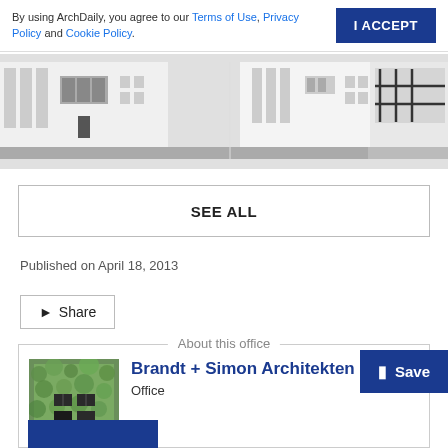By using ArchDaily, you agree to our Terms of Use, Privacy Policy and Cookie Policy.
I ACCEPT
[Figure (illustration): Row of architectural building elevation drawings (facades) in black and white line art style, showing four different building elevations side by side on a grey base.]
SEE ALL
Published on April 18, 2013
Share
About this office
[Figure (photo): Thumbnail photo of a building with green vegetation on facade, with dark windows visible.]
Brandt + Simon Architekten
Office
Save